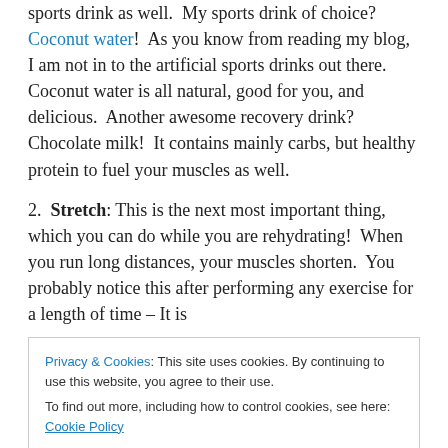sports drink as well.  My sports drink of choice?  Coconut water!  As you know from reading my blog, I am not in to the artificial sports drinks out there.  Coconut water is all natural, good for you, and delicious.  Another awesome recovery drink?  Chocolate milk!  It contains mainly carbs, but healthy protein to fuel your muscles as well.
2.  Stretch: This is the next most important thing, which you can do while you are rehydrating!  When you run long distances, your muscles shorten.  You probably notice this after performing any exercise for a length of time – It is
Privacy & Cookies: This site uses cookies. By continuing to use this website, you agree to their use. To find out more, including how to control cookies, see here: Cookie Policy
Close and accept
immensely.  Aim to stretch within 1 hour after you cross the